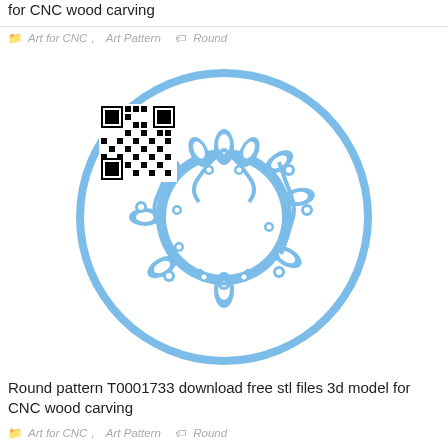for CNC wood carving
Art for CNC, Art Pattern   Round
[Figure (illustration): A round decorative CNC pattern frame (T0001733) with blue floral and leaf motifs arranged in a ring, with a QR code overlaid in the upper-left area of the image]
Round pattern T0001733 download free stl files 3d model for CNC wood carving
Art for CNC, Art Pattern   Round